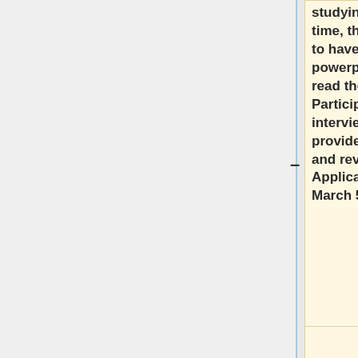studying abroad. By this time, the student is required to have viewed the powerpoint presentation and read the Terms of Student Participation. During the interview, Caroline will provide the application form and review the deadlines. Applicants will be notified by March 5th